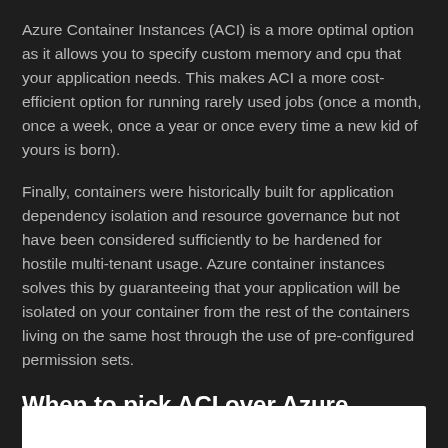Azure Container Instances (ACI) is a more optimal option as it allows you to specify custom memory and cpu that your application needs. This makes ACI a more cost-efficient option for running rarely used jobs (once a month, once a week, once a year or once every time a new kid of yours is born).
Finally, containers were historically built for application dependency isolation and resource governance but not have been considered sufficiently to be hardened for hostile multi-tenant usage. Azure container instances solves this by guaranteeing that your application will be isolated on your container from the rest of the containers living on the same host through the use of pre-configured permission sets.
When to pick ACI over Azure Kubernetes and Service Fabric?